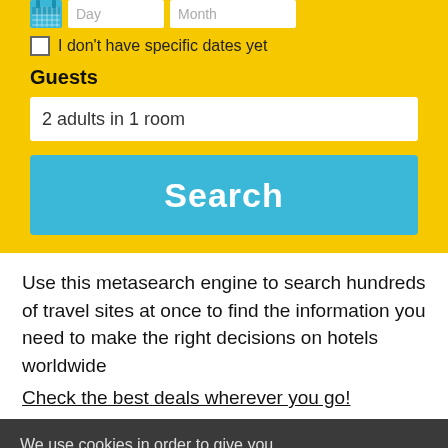[Figure (screenshot): Date input fields with calendar icon showing Day and Month placeholders]
I don't have specific dates yet
Guests
2 adults in 1 room
Search
Use this metasearch engine to search hundreds of travel sites at once to find the information you need to make the right decisions on hotels worldwide
Check the best deals wherever you go!
We use cookies in order to give you the best possible experience on our website. By continuing to use this site, you agree to our use of cookies.
Accept